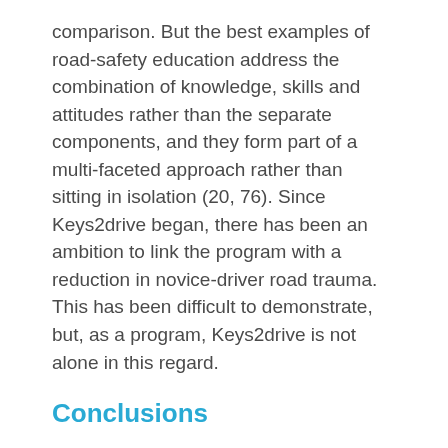comparison. But the best examples of road-safety education address the combination of knowledge, skills and attitudes rather than the separate components, and they form part of a multi-faceted approach rather than sitting in isolation (20, 76). Since Keys2drive began, there has been an ambition to link the program with a reduction in novice-driver road trauma. This has been difficult to demonstrate, but, as a program, Keys2drive is not alone in this regard.
Conclusions
This report finds that, while unable to demonstrate a conclusive, quantitative